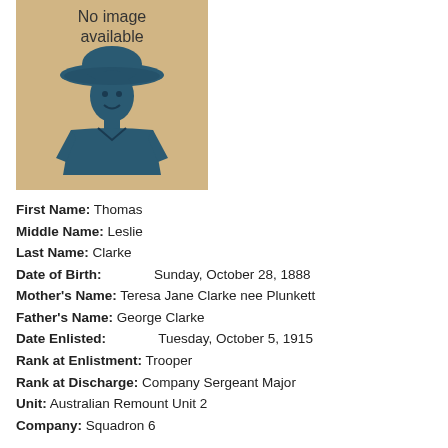[Figure (illustration): Placeholder image with text 'No image available' above a stylized blue silhouette of a soldier wearing a wide-brimmed hat on a tan/beige background.]
First Name: Thomas
Middle Name: Leslie
Last Name: Clarke
Date of Birth: Sunday, October 28, 1888
Mother's Name: Teresa Jane Clarke nee Plunkett
Father's Name: George Clarke
Date Enlisted: Tuesday, October 5, 1915
Rank at Enlistment: Trooper
Rank at Discharge: Company Sergeant Major
Unit: Australian Remount Unit 2
Company: Squadron 6